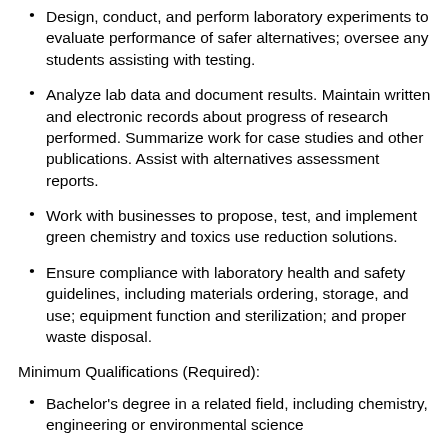Design, conduct, and perform laboratory experiments to evaluate performance of safer alternatives; oversee any students assisting with testing.
Analyze lab data and document results. Maintain written and electronic records about progress of research performed. Summarize work for case studies and other publications. Assist with alternatives assessment reports.
Work with businesses to propose, test, and implement green chemistry and toxics use reduction solutions.
Ensure compliance with laboratory health and safety guidelines, including materials ordering, storage, and use; equipment function and sterilization; and proper waste disposal.
Minimum Qualifications (Required):
Bachelor's degree in a related field, including chemistry, engineering or environmental science